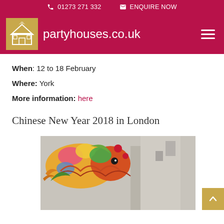01273 271 332   ENQUIRE NOW
partyhouses.co.uk
When: 12 to 18 February
Where: York
More information: here
Chinese New Year 2018 in London
[Figure (photo): Chinese dragon parade float with colorful decorative elements, photographed in front of a building during Chinese New Year celebrations]